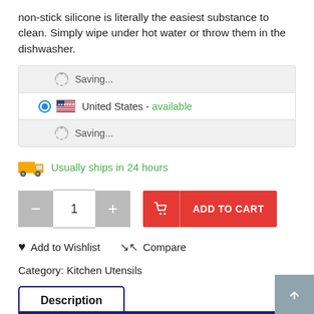non-stick silicone is literally the easiest substance to clean. Simply wipe under hot water or throw them in the dishwasher.
[Figure (infographic): Shipping region selector showing two 'Saving...' loading rows with spinner icons and one row showing United States - available with radio button and flag]
[Figure (infographic): Orange truck icon with 'Usually ships in 24 hours' text in green]
[Figure (infographic): Quantity selector with minus and plus buttons showing quantity 1, and a red ADD TO CART button with cart icon]
♥  Add to Wishlist    ⇄ Compare
Category: Kitchen Utensils
Description